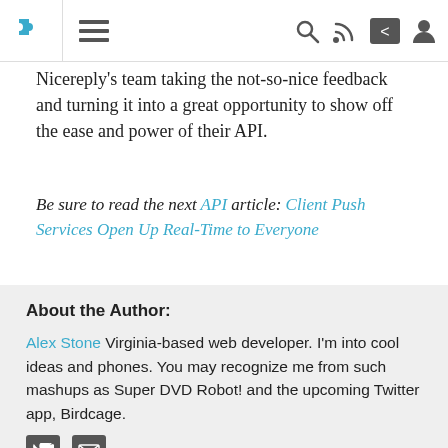Navigation bar with puzzle piece logo, hamburger menu, search, RSS, share, and user icons
Nicereply's team taking the not-so-nice feedback and turning it into a great opportunity to show off the ease and power of their API.
Be sure to read the next API article: Client Push Services Open Up Real-Time to Everyone
About the Author:
Alex Stone Virginia-based web developer. I'm into cool ideas and phones. You may recognize me from such mashups as Super DVD Robot! and the upcoming Twitter app, Birdcage.